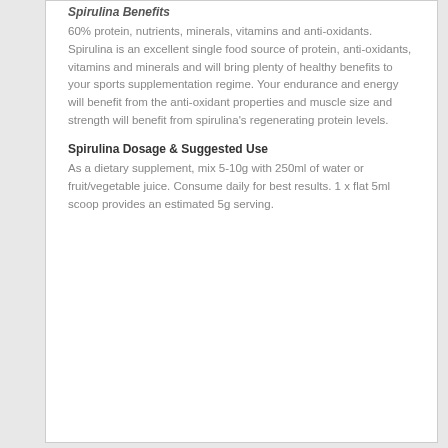Spirulina Benefits
60% protein, nutrients, minerals, vitamins and anti-oxidants. Spirulina is an excellent single food source of protein, anti-oxidants, vitamins and minerals and will bring plenty of healthy benefits to your sports supplementation regime. Your endurance and energy will benefit from the anti-oxidant properties and muscle size and strength will benefit from spirulina’s regenerating protein levels.
Spirulina Dosage & Suggested Use
As a dietary supplement, mix 5-10g with 250ml of water or fruit/vegetable juice. Consume daily for best results. 1 x flat 5ml scoop provides an estimated 5g serving.